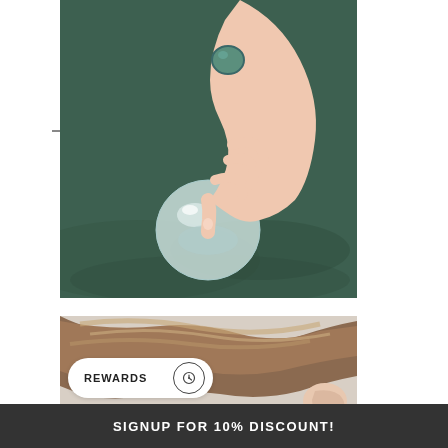[Figure (photo): A hand wearing a teal/dark green glass bubble ring, pointing down toward a clear glass/crystal sphere resting on dark green fabric]
[Figure (photo): Close-up of a person's hair and ear, showing highlights in brown/blonde hair, with a beige background]
REWARDS
SIGNUP FOR 10% DISCOUNT!